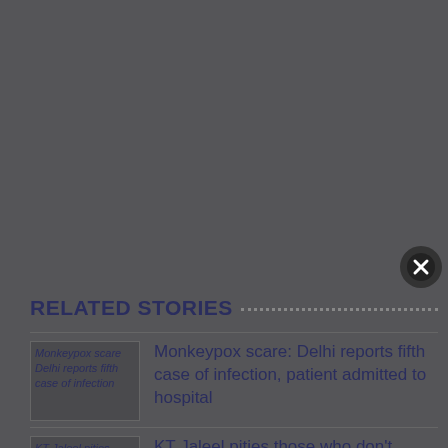RELATED STORIES
Monkeypox scare: Delhi reports fifth case of infection, patient admitted to hospital
KT Jaleel pities those who don't understand "Azad Kashmir" in double inverted commas
Har Ghar Tiranga: RSS joins I-Day campaign; replaces saffron flag with tricolour on social media